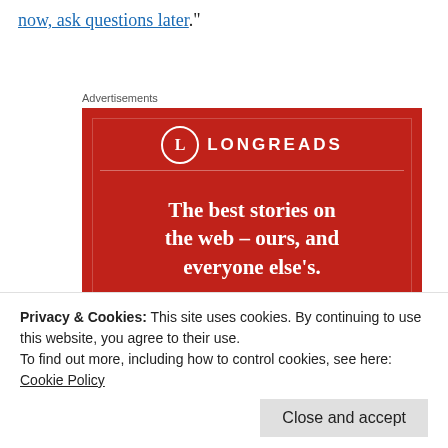now, ask questions later."
Advertisements
[Figure (illustration): Longreads advertisement on red background. Shows Longreads logo (circle with L and LONGREADS text), headline 'The best stories on the web – ours, and everyone else's.' and a 'Start reading' button.]
Privacy & Cookies: This site uses cookies. By continuing to use this website, you agree to their use.
To find out more, including how to control cookies, see here:
Cookie Policy
Close and accept
documentation which comes with the product